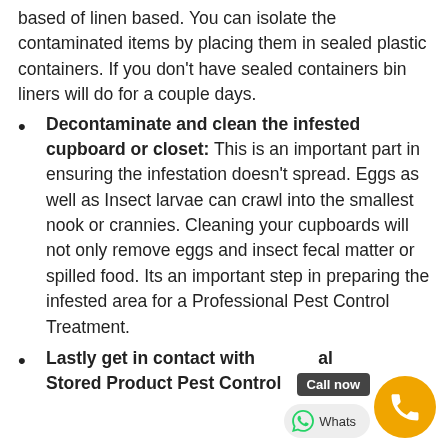based of linen based. You can isolate the contaminated items by placing them in sealed plastic containers. If you don't have sealed containers bin liners will do for a couple days.
Decontaminate and clean the infested cupboard or closet: This is an important part in ensuring the infestation doesn't spread. Eggs as well as Insect larvae can crawl into the smallest nook or crannies. Cleaning your cupboards will not only remove eggs and insect fecal matter or spilled food. Its an important step in preparing the infested area for a Professional Pest Control Treatment.
Lastly get in contact with a Professional Stored Product Pest Control